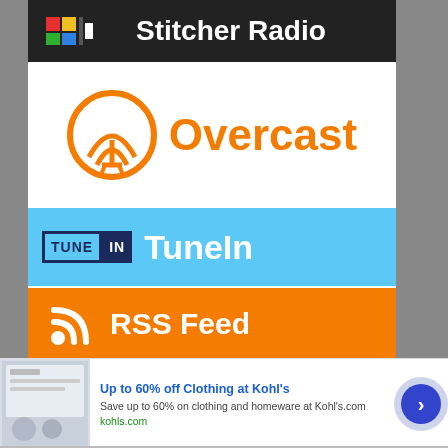[Figure (logo): Stitcher Radio logo button - dark background with colorful squares icon and white bold text]
[Figure (logo): Overcast podcast app logo - orange signal tower icon and orange bold text on white background]
[Figure (logo): TuneIn logo button - light blue background with TUNE IN box logo and white TuneIn text]
[Figure (logo): RSS Feed button - orange background with white RSS icon and white RSS Feed text]
[Figure (logo): Listen on Amazon Music button - black rounded rectangle with white text and amazon smile logo]
[Figure (screenshot): Advertisement banner: Up to 60% off Clothing at Kohl's - Save up to 60% on clothing and homeware at Kohls.com - kohls.com link - with close X button and blue arrow CTA]